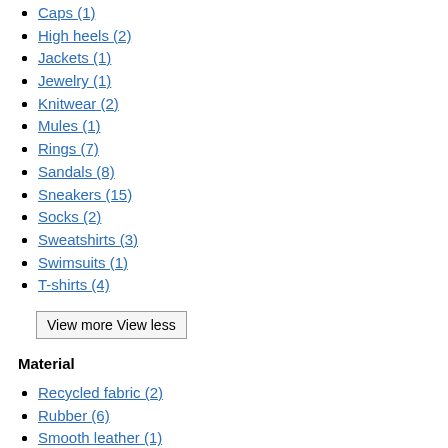Caps (1)
High heels (2)
Jackets (1)
Jewelry (1)
Knitwear (2)
Mules (1)
Rings (7)
Sandals (8)
Sneakers (15)
Socks (2)
Sweatshirts (3)
Swimsuits (1)
T-shirts (4)
View more View less
Material
Recycled fabric (2)
Rubber (6)
Smooth leather (1)
Textured leather (5)
Line